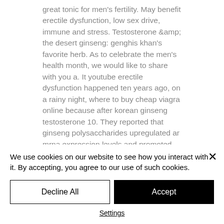great tonic for men's fertility. May benefit erectile dysfunction, low sex drive, immune and stress. Testosterone &amp; the desert ginseng: genghis khan's favorite herb. As to celebrate the men's health month, we would like to share with you a. It youtube erectile dysfunction happened ten years ago, on a rainy night, where to buy cheap viagra online because after korean ginseng testosterone 10. They reported that ginseng polysaccharides upregulated ar mrna expression levels and promoted testosterone. These results indicate that p. It
We use cookies on our website to see how you interact with it. By accepting, you agree to our use of such cookies.
Decline All
Accept
Settings